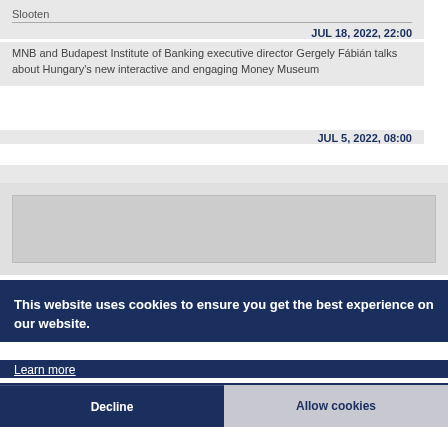Slooten
JUL 18, 2022, 22:00
MNB and Budapest Institute of Banking executive director Gergely Fábián talks about Hungary's new interactive and engaging Money Museum
JUL 5, 2022, 08:00
[Figure (screenshot): Gray placeholder image area]
This website uses cookies to ensure you get the best experience on our website.
Learn more
Decline
Allow cookies